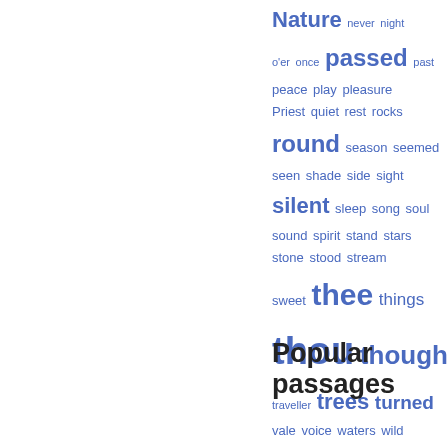[Figure (infographic): Word cloud of literary terms in blue, with varying font sizes indicating frequency. Words include: Nature, never, night, o'er, once, passed, past, peace, play, pleasure, Priest, quiet, rest, rocks, round, season, seemed, seen, shade, side, sight, silent, sleep, song, soul, sound, spirit, stand, stars, stone, stood, stream, sweet, thee, things, thou, thought, traveller, trees, turned, vale, voice, waters, wild, wind, woods, wrought, Yarrow, youth]
Popular passages